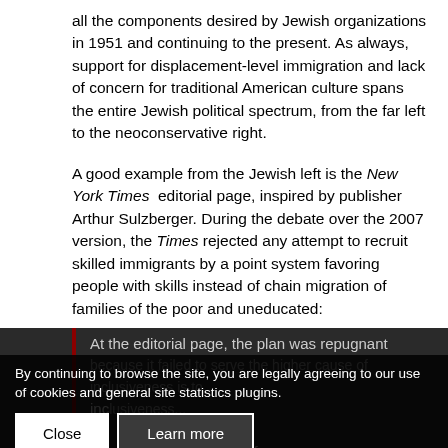all the components desired by Jewish organizations in 1951 and continuing to the present. As always, support for displacement-level immigration and lack of concern for traditional American culture spans the entire Jewish political spectrum, from the far left to the neoconservative right.
A good example from the Jewish left is the New York Times editorial page, inspired by publisher Arthur Sulzberger. During the debate over the 2007 version, the Times rejected any attempt to recruit skilled immigrants by a point system favoring people with skills instead of chain migration of families of the poor and uneducated:
At the editorial page, the plan was repugnant because it failed to serve the higher cause of inclusiveness...
The Times advocated that the system of legal immigration not be reformed; that it continue
By continuing to browse the site, you are legally agreeing to our use of cookies and general site statistics plugins.